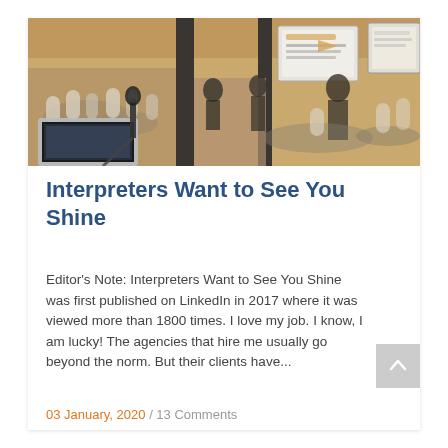[Figure (photo): Conference room scene with attendees seated at round tables, a presenter at the front, projection screens showing slides, and a laptop with microphone in the foreground. The room has warm amber/tan walls and dim lighting.]
Interpreters Want to See You Shine
Editor's Note: Interpreters Want to See You Shine was first published on LinkedIn in 2017 where it was viewed more than 1800 times. I love my job. I know, I am lucky! The agencies that hire me usually go beyond the norm. But their clients have...
03 January, 2020 / 13 Comments